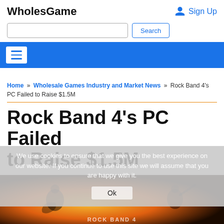WholesGame
Sign Up
Search
Home » Wholesale Games Industry and Market News » Rock Band 4's PC Failed to Raise $1.5M
Rock Band 4's PC Failed to Raise $1.5M
We use cookies to ensure that we give you the best experience on our website. If you continue to use this site we will assume that you are happy with it. Ok
[Figure (photo): Rock Band 4 promotional image with orange/fire background showing silhouetted figures playing instruments, with Rock Band 4 logo text at bottom]